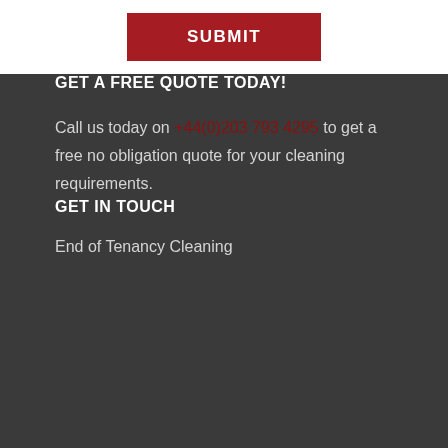SUBMIT
GET A FREE QUOTE TODAY!
Call us today on +44(0)203 793 4295 to get a free no obligation quote for your cleaning requirements.
GET IN TOUCH
End of Tenancy Cleaning